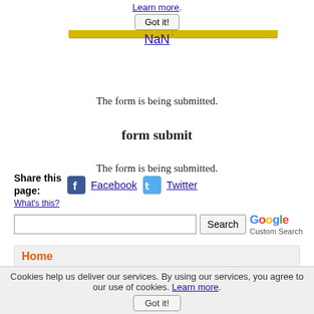Learn more.
Got it!
NaN
[Figure (screenshot): Scrollbar or progress-bar element with yellow/gold fill, partially filled]
The form is being submitted.
form submit
The form is being submitted.
Share this page:
Facebook
Twitter
What's this?
Search  Google Custom Search
Home
Cookies help us deliver our services. By using our services, you agree to our use of cookies. Learn more.
Got it!